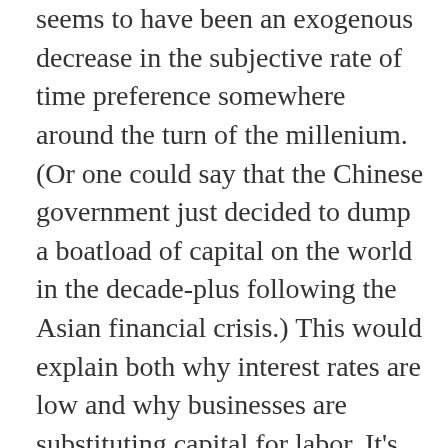seems to have been an exogenous decrease in the subjective rate of time preference somewhere around the turn of the millenium. (Or one could say that the Chinese government just decided to dump a boatload of capital on the world in the decade-plus following the Asian financial crisis.) This would explain both why interest rates are low and why businesses are substituting capital for labor. It's noteworthy that, at least in Asia, the savings glut seems to have reversed (although now we have a different